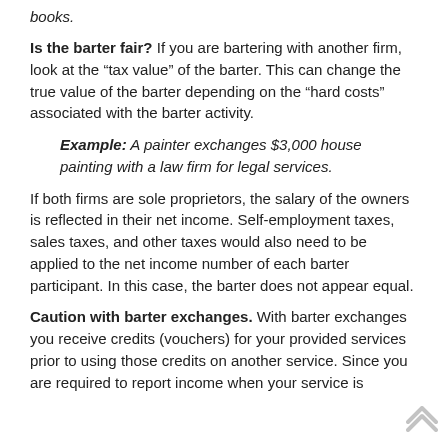books.
Is the barter fair? If you are bartering with another firm, look at the “tax value” of the barter. This can change the true value of the barter depending on the “hard costs” associated with the barter activity.
Example: A painter exchanges $3,000 house painting with a law firm for legal services.
If both firms are sole proprietors, the salary of the owners is reflected in their net income. Self-employment taxes, sales taxes, and other taxes would also need to be applied to the net income number of each barter participant. In this case, the barter does not appear equal.
Caution with barter exchanges. With barter exchanges you receive credits (vouchers) for your provided services prior to using those credits on another service. Since you are required to report income when your service is